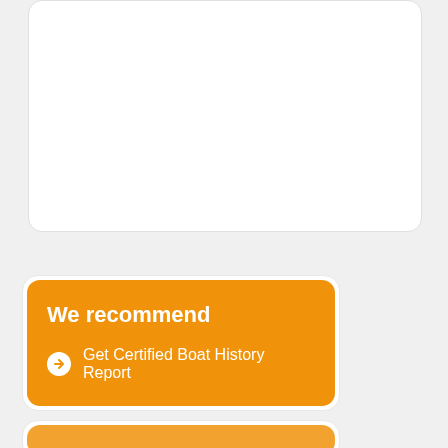[Figure (other): White rounded rectangle card area, mostly empty white space]
We recommend
Get Certified Boat History Report